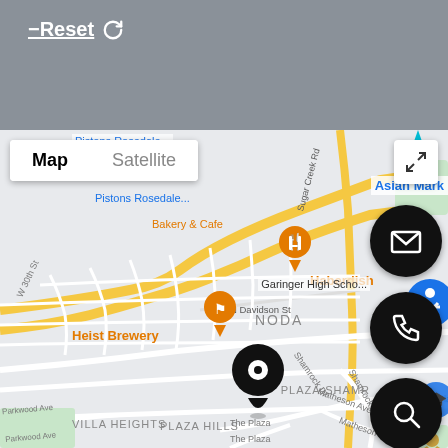[Figure (screenshot): Mobile app UI screenshot showing a map view of the NoDa neighborhood in Charlotte, NC. The top portion has a gray header with a Reset button. Below is a Google Maps-style map with Map/Satellite toggle, a location pin marker, neighborhood labels (NODA, VILLA HEIGHTS, PLAZA HILLS, PLAZA-SHAMR), street names, and POI labels (Haberdish, Heist Brewery, Asian Mark, Garinger High Scho). Three circular action buttons on the right side: email/envelope, phone, and search icons.]